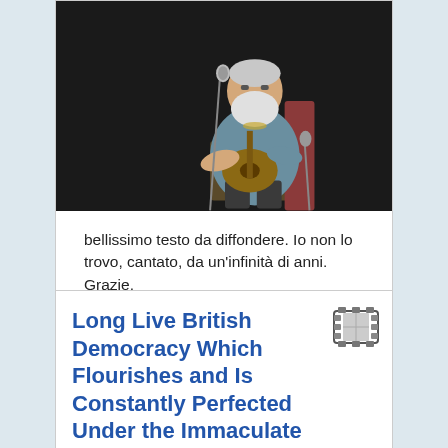[Figure (photo): An elderly man with a white beard playing acoustic guitar at a microphone on a dark stage.]
bellissimo testo da diffondere. Io non lo trovo, cantato, da un'infinità di anni. Grazie.
roberto de pas 31/7/2013 - 22:42
[Figure (illustration): Film reel / cinema icon]
Long Live British Democracy Which Flourishes and Is Constantly Perfected Under the Immaculate Guidance